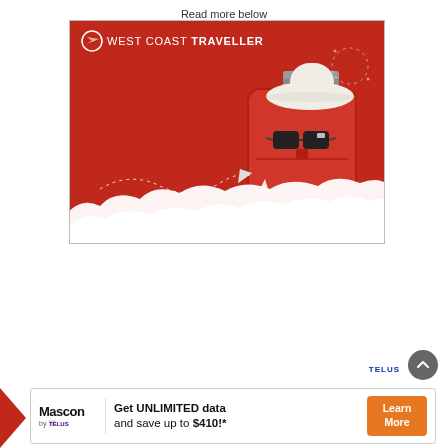Read more below
[Figure (illustration): West Coast Traveller advertisement banner: red background with a red suitcase, white sun hat, white sunglasses, white paper airplane with dotted trail path, and white cloud formations at the bottom. West Coast Traveller logo with plane icon in top left.]
[Figure (infographic): Mascon by TELUS advertisement banner: 'Get UNLIMITED data and save up to $410!*' with Mascon by TELUS logo on left and orange 'Learn More' button on right.]